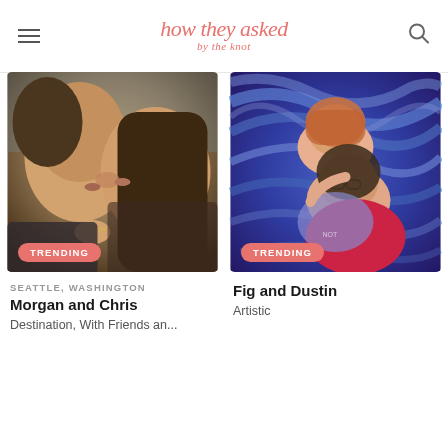how they asked by the knot
[Figure (photo): Couple kissing closely, romantic photo, Seattle Washington. TRENDING badge at bottom left.]
SEATTLE, WASHINGTON
Morgan and Chris
Destination, With Friends an...
[Figure (photo): Two women lying on a swirling blue Van Gogh-style art background, smiling. TRENDING badge at bottom left.]
Fig and Dustin
Artistic